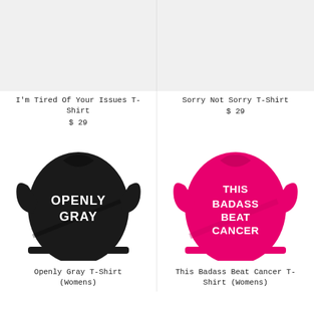[Figure (photo): Top-left: light gray background placeholder image for I'm Tired Of Your Issues T-Shirt]
[Figure (photo): Top-right: light gray background placeholder image for Sorry Not Sorry T-Shirt]
I'm Tired Of Your Issues T-Shirt
$ 29
Sorry Not Sorry T-Shirt
$ 29
[Figure (photo): Black women's t-shirt with text OPENLY GRAY in white bold letters]
[Figure (photo): Hot pink women's t-shirt with text THIS BADASS BEAT CANCER in white bold letters]
Openly Gray T-Shirt (Womens)
This Badass Beat Cancer T-Shirt (Womens)